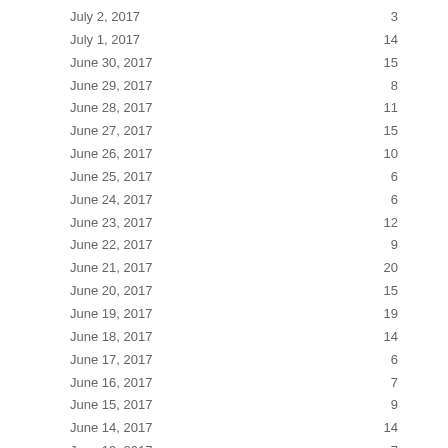| Date | Value |
| --- | --- |
| July 2, 2017 | 3 |
| July 1, 2017 | 14 |
| June 30, 2017 | 15 |
| June 29, 2017 | 8 |
| June 28, 2017 | 11 |
| June 27, 2017 | 15 |
| June 26, 2017 | 10 |
| June 25, 2017 | 6 |
| June 24, 2017 | 6 |
| June 23, 2017 | 12 |
| June 22, 2017 | 9 |
| June 21, 2017 | 20 |
| June 20, 2017 | 15 |
| June 19, 2017 | 19 |
| June 18, 2017 | 14 |
| June 17, 2017 | 6 |
| June 16, 2017 | 7 |
| June 15, 2017 | 9 |
| June 14, 2017 | 14 |
| June 13, 2017 | 7 |
| June 12, 2017 | 8 |
| June 11, 2017 | 5 |
| June 10, 2017 | 7 |